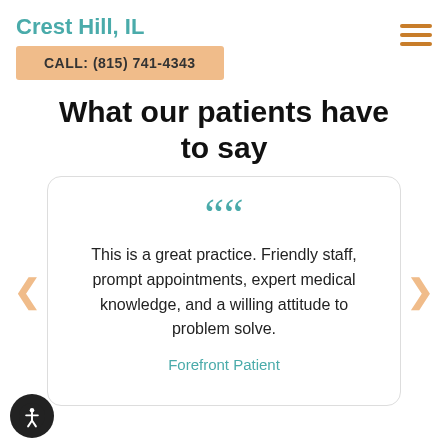Crest Hill, IL
CALL: (815) 741-4343
What our patients have to say
This is a great practice. Friendly staff, prompt appointments, expert medical knowledge, and a willing attitude to problem solve.
Forefront Patient